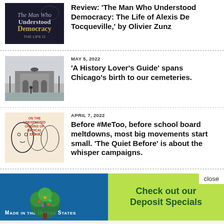[Figure (photo): Book cover for 'The Man Who Understood Democracy' showing dark image with text]
Review: 'The Man Who Understood Democracy: The Life of Alexis De Tocqueville,' by Olivier Zunz
MAY 5, 2022
[Figure (photo): Black and white photo of a monument or building entrance with a horse statue on top, bare winter trees]
'A History Lover's Guide' spans Chicago's birth to our cemeteries.
APRIL 7, 2022
[Figure (illustration): Book cover with line drawings of faces and text 'On the Unexpected Origins of Radical Ideas']
Before #MeToo, before school board meltdowns, most big movements start small. 'The Quiet Before' is about the whisper campaigns.
[Figure (infographic): Advertisement banner: left side blue background with 'Made in the United States' text, center has tree logo illustration, right side green background with 'Check out our Deposit Specials' text, close button in top right]